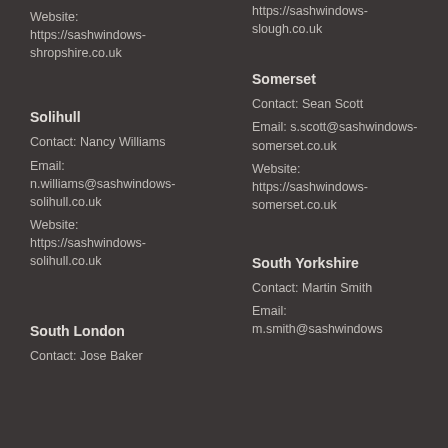Website: https://sashwindows-shropshire.co.uk
Website: https://sashwindows-slough.co.uk
Solihull
Contact: Nancy Williams
Email: n.williams@sashwindows-solihull.co.uk
Website: https://sashwindows-solihull.co.uk
Somerset
Contact: Sean Scott
Email: s.scott@sashwindows-somerset.co.uk
Website: https://sashwindows-somerset.co.uk
South London
Contact: Jose Baker
South Yorkshire
Contact: Martin Smith
Email: m.smith@sashwindows